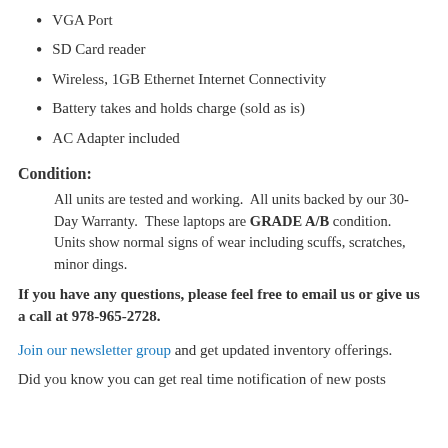VGA Port
SD Card reader
Wireless, 1GB Ethernet Internet Connectivity
Battery takes and holds charge (sold as is)
AC Adapter included
Condition:
All units are tested and working.  All units backed by our 30-Day Warranty.  These laptops are GRADE A/B condition. Units show normal signs of wear including scuffs, scratches, minor dings.
If you have any questions, please feel free to email us or give us a call at 978-965-2728.
Join our newsletter group and get updated inventory offerings.
Did you know you can get real time notification of new posts